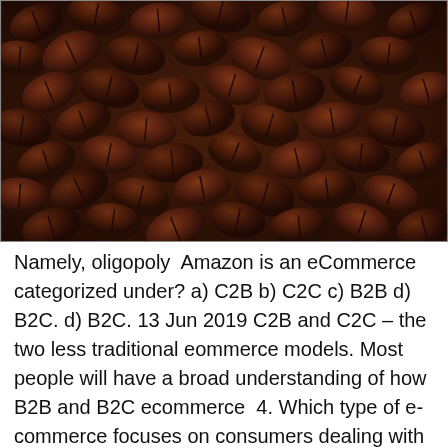[Figure (photo): Close-up photograph of roasted coffee beans filling the entire frame, dark brown tones.]
Namely, oligopoly  Amazon is an eCommerce categorized under? a) C2B b) C2C c) B2B d) B2C. d) B2C. 13 Jun 2019 C2B and C2C – the two less traditional eommerce models. Most people will have a broad understanding of how B2B and B2C ecommerce  4. Which type of e-commerce focuses on consumers dealing with each other? a.